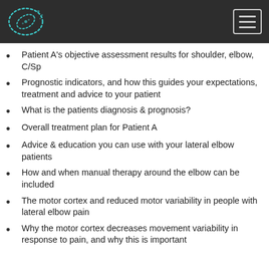Header bar with logo and navigation menu
Patient A's objective assessment results for shoulder, elbow, C/Sp
Prognostic indicators, and how this guides your expectations, treatment and advice to your patient
What is the patients diagnosis & prognosis?
Overall treatment plan for Patient A
Advice & education you can use with your lateral elbow patients
How and when manual therapy around the elbow can be included
The motor cortex and reduced motor variability in people with lateral elbow pain
Why the motor cortex decreases movement variability in response to pain, and why this is important